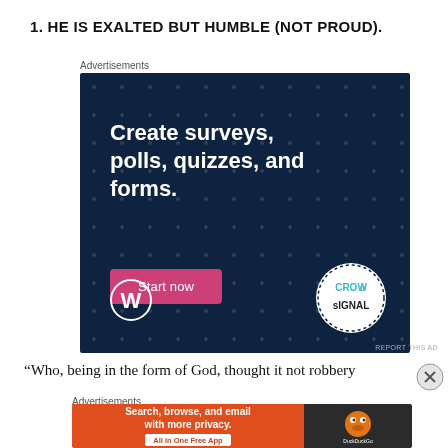1. HE IS EXALTED BUT HUMBLE (NOT PROUD).
Advertisements
[Figure (illustration): Advertisement for Crowdsignal/WordPress: dark navy background with dot pattern. Large white bold text reads 'Create surveys, polls, quizzes, and forms.' Pink/magenta button labeled 'Start now'. WordPress logo (W in circle) bottom left. Crowdsignal circular badge bottom right with dotted border.]
REPORT THIS AD
“Who, being in the form of God, thought it not robbery
Advertisements
[Figure (illustration): Advertisement for DuckDuckGo: orange left panel with text 'Search, browse, and email with more privacy. All in One Free App' button. Dark right panel with DuckDuckGo duck logo and brand name.]